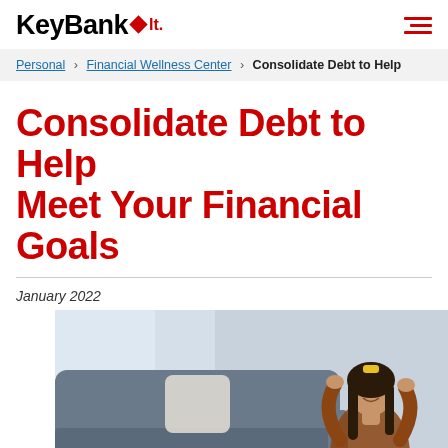KeyBank logo and navigation menu icon
Personal > Financial Wellness Center > Consolidate Debt to Help
Consolidate Debt to Help Meet Your Financial Goals
January 2022
[Figure (photo): A woman relaxing at home, sitting on the floor in front of a gray sofa, smiling and looking upward with her hands behind her head. She has long dark hair with a yellow hair accessory and is wearing a rust-colored cardigan. A laptop is open on the floor in front of her.]